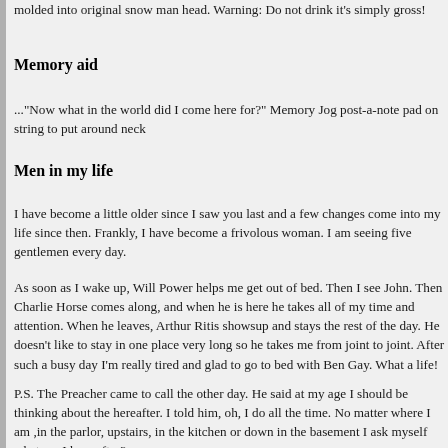molded into original snow man head. Warning: Do not drink it's simply gross!
Memory aid
..."Now what in the world did I come here for?" Memory Jog post-a-note pad on string to put around neck
Men in my life
I have become a little older since I saw you last and a few changes have come into my life since then. Frankly, I have become a frivolous woman. I am seeing five gentlemen every day.
As soon as I wake up, Will Power helps me get out of bed. Then I go see John. Then Charlie Horse comes along, and when he is here he takes all of my time and attention. When he leaves, Arthur Ritis shows up and stays the rest of the day. He doesn't like to stay in one place very long so he takes me from joint to joint. After such a busy day I'm really tired and glad to go to bed with Ben Gay. What a life!
P.S. The Preacher came to call the other day. He said at my age I should be thinking about the hereafter. I told him, oh, I do all the time. No matter where I am ,in the parlor, upstairs, in the kitchen or down in the basement I ask myself what am I here after?